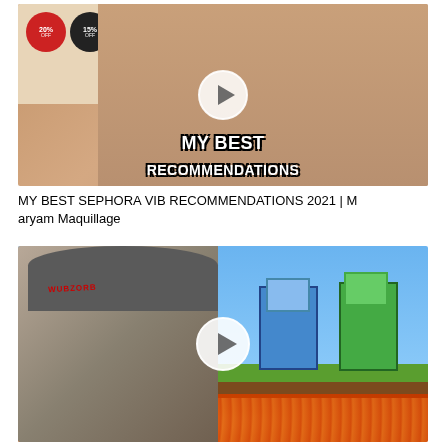[Figure (screenshot): YouTube video thumbnail for 'MY BEST SEPHORA VIB RECOMMENDATIONS 2021' by Maryam Maquillage. Shows a woman pointing at discount badge stickers (20% off, 15% off, 10% off) with text 'MY BEST RECOMMENDATIONS' overlaid in bold white with dark outline. Red VIB 2021 branding in top right. White play button in center.]
MY BEST SEPHORA VIB RECOMMENDATIONS 2021 | Maryam Maquillage
[Figure (screenshot): YouTube video thumbnail showing a man with a backwards cap with 'WUBZORB' text, looking serious/sad, alongside Minecraft-style characters on a grassy/lava landscape. White play button in center.]